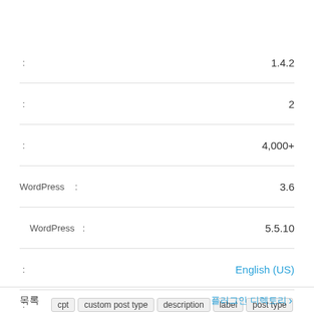| : | 1.4.2 |
| : | 2 |
| : | 4,000+ |
| WordPress : | 3.6 |
| WordPress : | 5.5.10 |
| : | English (US) |
| : | cpt  custom post type  description  label  post type |
리뷰 모두 읽기
목록 ▸ 플러그인 디렉토리